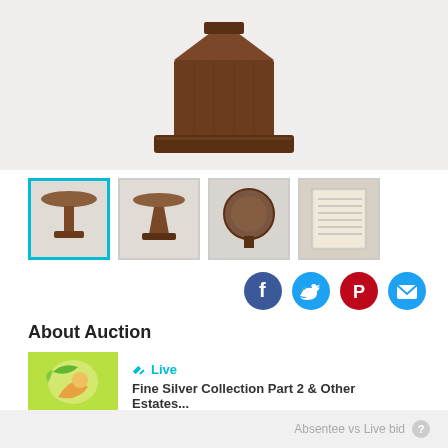[Figure (photo): Main product photo showing a round pedestal table with dark walnut finish, pyramid-shaped base, viewed from above/side angle against white background]
[Figure (photo): Thumbnail 1 (active/selected): Small round pedestal table, full view, with cyan border]
[Figure (photo): Thumbnail 2: Small round pedestal table, angled view]
[Figure (photo): Thumbnail 3: Table viewed from below, round top visible]
[Figure (photo): Thumbnail 4: Close-up of handwritten list/document pages]
About Auction
[Figure (photo): Small auction house thumbnail showing colorful painting/artwork]
Live
Fine Silver Collection Part 2 & Other Estates...
Estimate:  $300 - $500
Login for Price
Absentee vs Live bid ?